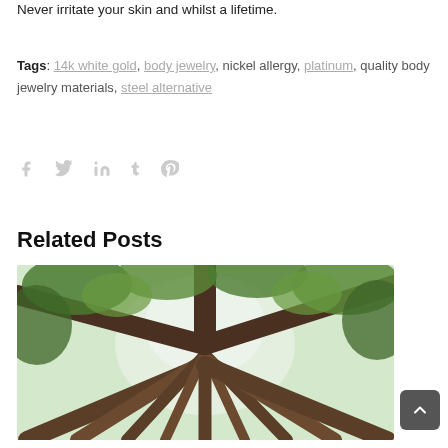Never irritate your skin and whilst a lifetime.
Tags: 14k white gold, body jewelry, nickel allergy, platinum, quality body jewelry materials, steel alternative
[Figure (infographic): Social media share icons: Facebook, Twitter, LinkedIn, Tumblr, Pinterest in light gray]
Related Posts
[Figure (photo): Photo looking up through tall forest trees with green canopy and light filtering through]